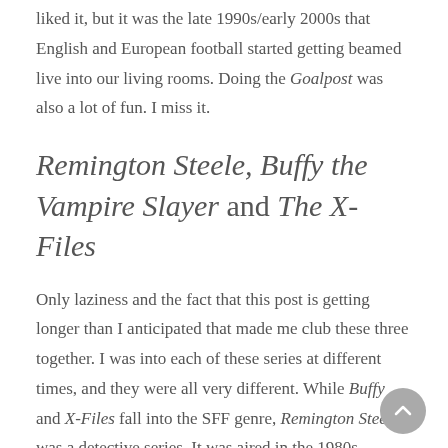liked it, but it was the late 1990s/early 2000s that English and European football started getting beamed live into our living rooms. Doing the Goalpost was also a lot of fun. I miss it.
Remington Steele, Buffy the Vampire Slayer and The X-Files
Only laziness and the fact that this post is getting longer than I anticipated that made me club these three together. I was into each of these series at different times, and they were all very different. While Buffy and X-Files fall into the SFF genre, Remington Steele was a detective series. It was aired in the 1980s, though we got to see it in the mid-1990s, when I was in my late teens. It all began when a private investigator called Laura Holt set up her own agency, but